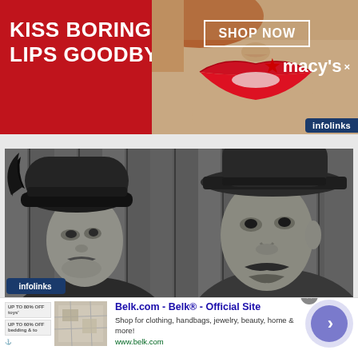[Figure (screenshot): Macy's banner advertisement: 'KISS BORING LIPS GOODBYE' with red lipstick model photo, SHOP NOW box, Macy's star logo, and infolinks tag]
[Figure (photo): Black and white vintage-style photograph of a woman wearing a cloche hat with feather and a man wearing a fedora hat, against a wooden slat background]
[Figure (screenshot): Belk.com display advertisement: 'Belk.com - Belk® - Official Site', 'Shop for clothing, handbags, jewelry, beauty, home & more!', 'www.belk.com', with thumbnail image and navigation arrow button]